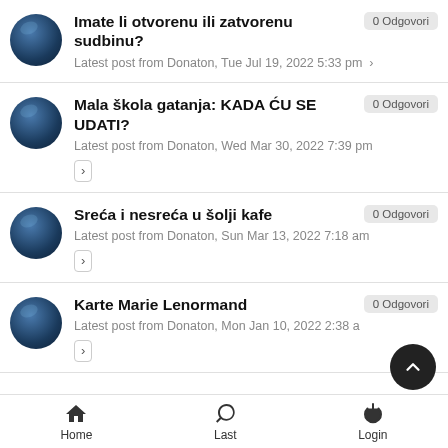Imate li otvorenu ili zatvorenu sudbinu?
Latest post from Donaton, Tue Jul 19, 2022 5:33 pm
0 Odgovori
Mala škola gatanja: KADA ĆU SE UDATI?
Latest post from Donaton, Wed Mar 30, 2022 7:39 pm
0 Odgovori
Sreća i nesreća u šolji kafe
Latest post from Donaton, Sun Mar 13, 2022 7:18 am
0 Odgovori
Karte Marie Lenormand
Latest post from Donaton, Mon Jan 10, 2022 2:38 a...
0 Odgovori
Home   Last   Login